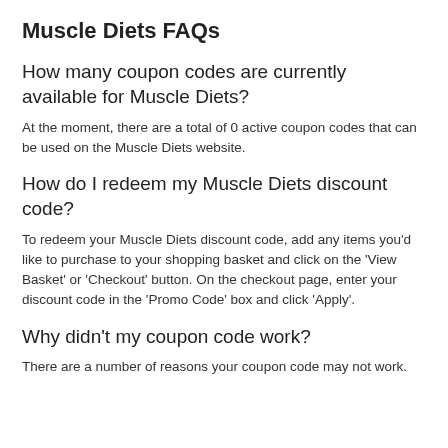Muscle Diets FAQs
How many coupon codes are currently available for Muscle Diets?
At the moment, there are a total of 0 active coupon codes that can be used on the Muscle Diets website.
How do I redeem my Muscle Diets discount code?
To redeem your Muscle Diets discount code, add any items you'd like to purchase to your shopping basket and click on the 'View Basket' or 'Checkout' button. On the checkout page, enter your discount code in the 'Promo Code' box and click 'Apply'.
Why didn't my coupon code work?
There are a number of reasons your coupon code may not work.